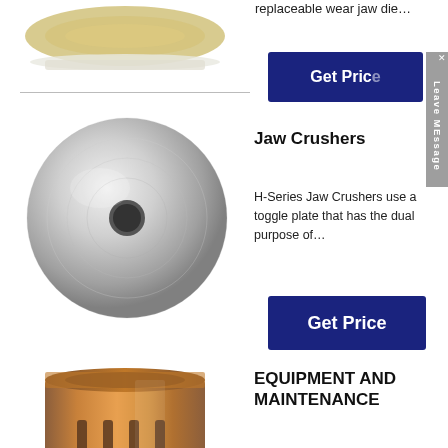replaceable wear jaw die…
[Figure (photo): Close-up photo of a circular industrial part with coiled wire/spring element, top of page left column]
[Figure (photo): Circular metallic disc with center hole, polished steel finish — middle of page left column]
Jaw Crushers
H-Series Jaw Crushers use a toggle plate that has the dual purpose of…
Get Price
Get Price
EQUIPMENT AND MAINTENANCE
time to take up the wear of jaw plates, toggle ends and seats, or eIM Bulleti…
[Figure (photo): Bronze/copper cylindrical bushing or sleeve with vertical slots, bottom left column]